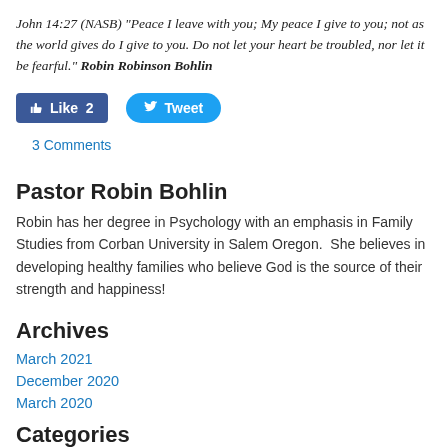John 14:27 (NASB) "Peace I leave with you; My peace I give to you; not as the world gives do I give to you. Do not let your heart be troubled, nor let it be fearful." Robin Robinson Bohlin
[Figure (screenshot): Facebook Like button showing count of 2 and Twitter Tweet button]
3 Comments
Pastor Robin Bohlin
Robin has her degree in Psychology with an emphasis in Family Studies from Corban University in Salem Oregon. She believes in developing healthy families who believe God is the source of their strength and happiness!
Archives
March 2021
December 2020
March 2020
Categories